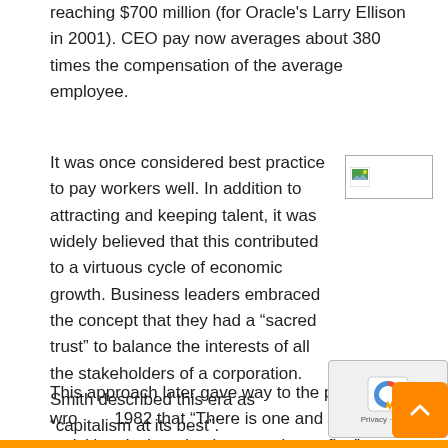reaching $700 million (for Oracle's Larry Ellison in 2001). CEO pay now averages about 380 times the compensation of the average employee.
It was once considered best practice to pay workers well. In addition to attracting and keeping talent, it was widely believed that this contributed to a virtuous cycle of economic growth. Business leaders embraced the concept that they had a “sacred trust” to balance the interests of all the stakeholders of a corporation. Smith described this era as “capitalism at its best”.
[Figure (photo): Small broken/placeholder image thumbnail with a landscape icon]
2013 Conference on World Affairs
This approach later gave way to the philosophy embodied by Nobel prize winning economist Milton Friedman who wrote in 1982 that “There is one and only one social responsibility of business — to use its resources and engage in activities designed to increase its profits.”